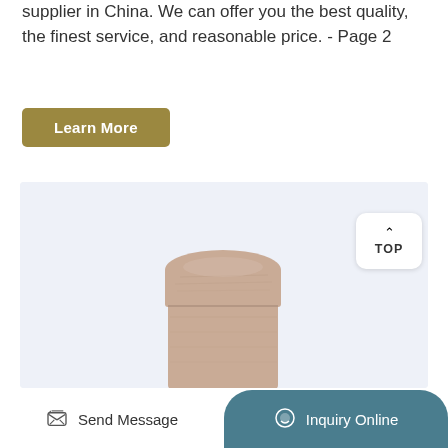supplier in China. We can offer you the best quality, the finest service, and reasonable price. - Page 2
Learn More
[Figure (photo): A cylindrical container with a wooden lid, displayed on a light blue-gray background. The container has a natural beige/tan color with a wood-grain texture.]
TOP
Send Message  |  Inquiry Online